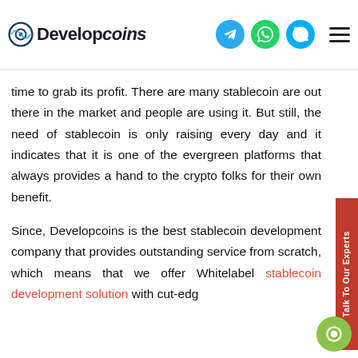Developcoins
time to grab its profit. There are many stablecoin are out there in the market and people are using it. But still, the need of stablecoin is only raising every day and it indicates that it is one of the evergreen platforms that always provides a hand to the crypto folks for their own benefit.
Since, Developcoins is the best stablecoin development company that provides outstanding service from scratch, which means that we offer Whitelabel stablecoin development solution with cut-edge